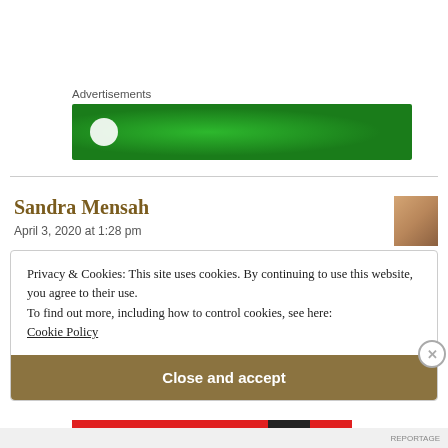Advertisements
[Figure (illustration): Green advertisement banner with white circle/logo element on left and dot pattern]
Sandra Mensah
April 3, 2020 at 1:28 pm
[Figure (photo): Small square author avatar thumbnail]
Privacy & Cookies: This site uses cookies. By continuing to use this website, you agree to their use.
To find out more, including how to control cookies, see here:
Cookie Policy
Close and accept